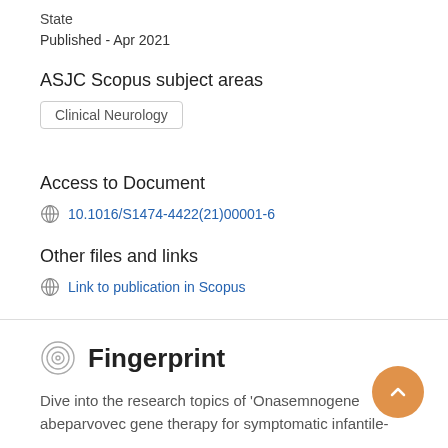State
Published - Apr 2021
ASJC Scopus subject areas
Clinical Neurology
Access to Document
10.1016/S1474-4422(21)00001-6
Other files and links
Link to publication in Scopus
Fingerprint
Dive into the research topics of 'Onasemnogene abeparvovec gene therapy for symptomatic infantile-